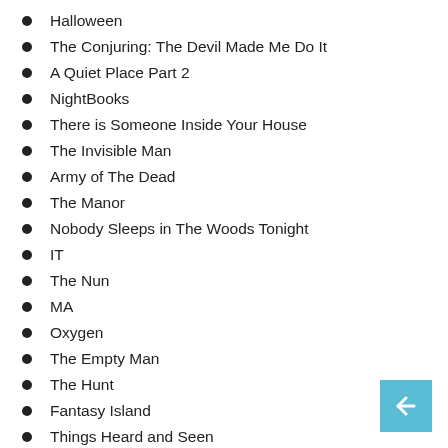Halloween
The Conjuring: The Devil Made Me Do It
A Quiet Place Part 2
NightBooks
There is Someone Inside Your House
The Invisible Man
Army of The Dead
The Manor
Nobody Sleeps in The Woods Tonight
IT
The Nun
MA
Oxygen
The Empty Man
The Hunt
Fantasy Island
Things Heard and Seen